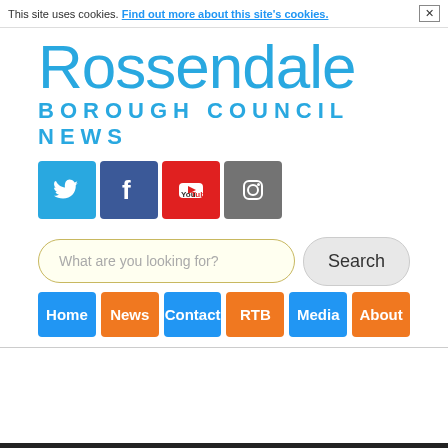This site uses cookies. Find out more about this site's cookies. ×
Rossendale BOROUGH COUNCIL NEWS
[Figure (other): Social media icons: Twitter (blue), Facebook (dark blue), YouTube (red), Instagram (grey)]
What are you looking for? [search input] Search
Home | News | Contact | RTB | Media | About